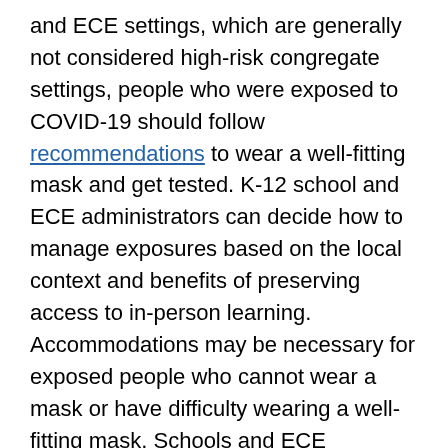and ECE settings, which are generally not considered high-risk congregate settings, people who were exposed to COVID-19 should follow recommendations to wear a well-fitting mask and get tested. K-12 school and ECE administrators can decide how to manage exposures based on the local context and benefits of preserving access to in-person learning. Accommodations may be necessary for exposed people who cannot wear a mask or have difficulty wearing a well-fitting mask. Schools and ECE programs can also consider recommending masking and/or testing for a classroom in which a student was recently exposed who is unable to consistently and correctly wear a mask.
Quarantine is a key component to Test to Stay programs. Since quarantine is no longer recommended for people who are exposed to